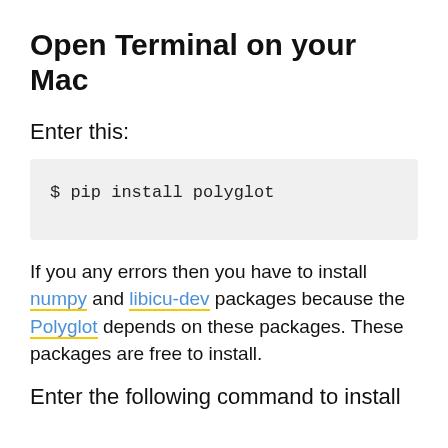Open Terminal on your Mac
Enter this:
$ pip install polyglot
If you any errors then you have to install numpy and libicu-dev packages because the Polyglot depends on these packages. These packages are free to install.
Enter the following command to install